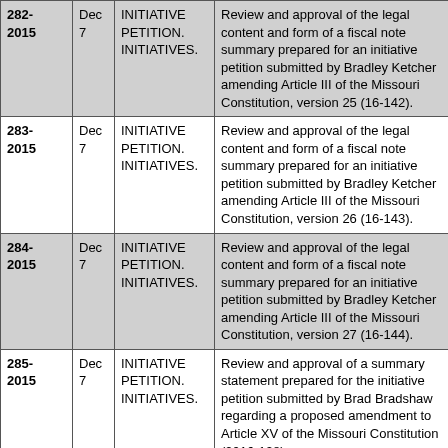| Number | Month | Type | Description |
| --- | --- | --- | --- |
| 282-2015 | Dec 7 | INITIATIVE PETITION. INITIATIVES. | Review and approval of the legal content and form of a fiscal note summary prepared for an initiative petition submitted by Bradley Ketcher amending Article III of the Missouri Constitution, version 25 (16-142). |
| 283-2015 | Dec 7 | INITIATIVE PETITION. INITIATIVES. | Review and approval of the legal content and form of a fiscal note summary prepared for an initiative petition submitted by Bradley Ketcher amending Article III of the Missouri Constitution, version 26 (16-143). |
| 284-2015 | Dec 7 | INITIATIVE PETITION. INITIATIVES. | Review and approval of the legal content and form of a fiscal note summary prepared for an initiative petition submitted by Bradley Ketcher amending Article III of the Missouri Constitution, version 27 (16-144). |
| 285-2015 | Dec 7 | INITIATIVE PETITION. INITIATIVES. | Review and approval of a summary statement prepared for the initiative petition submitted by Brad Bradshaw regarding a proposed amendment to Article XV of the Missouri Constitution (2016-128). |
| 286-2015 | Dec 7 | INITIATIVE PETITION. INITIATIVES. | Review and approval of the sufficiency as to form of an initiative petition submitted by Bradley Ketcher to amend Chapters 196 & 210, Revised Statutes of Missouri (2016- |